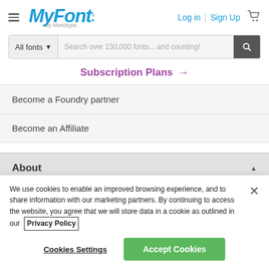MyFonts by Monotype — Log in | Sign Up
All fonts ▼  Search over 130,000 fonts... and counting!
Subscription Plans →
Become a Foundry partner
Become an Affiliate
About ▲
We use cookies to enable an improved browsing experience, and to share information with our marketing partners. By continuing to access the website, you agree that we will store data in a cookie as outlined in our Privacy Policy
Cookies Settings  Accept Cookies